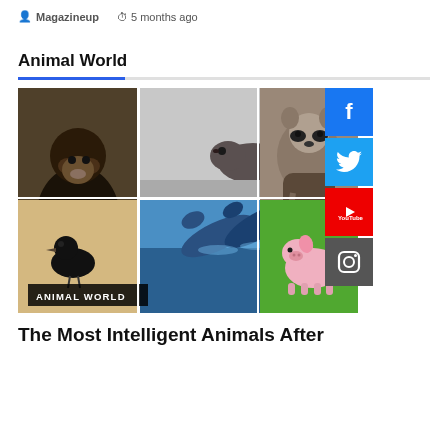Magazineup   5 months ago
Animal World
[Figure (photo): Collage of smart animals: chimpanzee, rat, raccoon, dolphin leaping, crow, elephant, pig. Label overlay reads 'ANIMAL WORLD'.]
The Most Intelligent Animals After